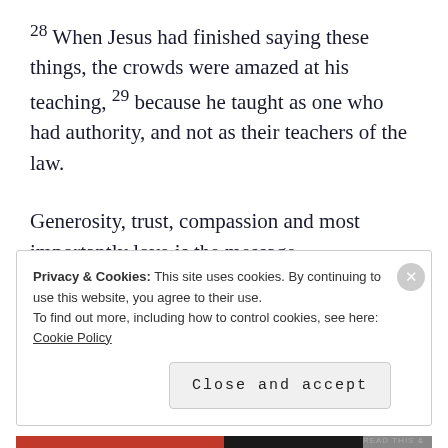28 When Jesus had finished saying these things, the crowds were amazed at his teaching, 29 because he taught as one who had authority, and not as their teachers of the law.
Generosity, trust, compassion and most importantly love is the message.
Show that Love today.
Have a Blessed week,
Privacy & Cookies: This site uses cookies. By continuing to use this website, you agree to their use.
To find out more, including how to control cookies, see here: Cookie Policy
Close and accept